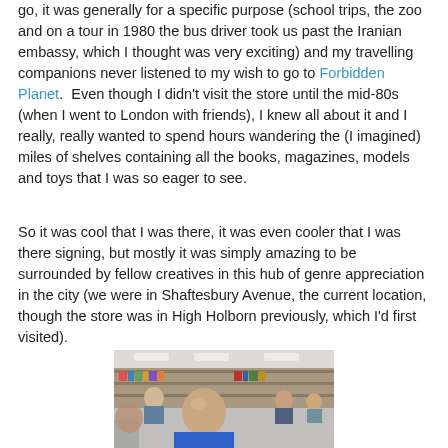go, it was generally for a specific purpose (school trips, the zoo and on a tour in 1980 the bus driver took us past the Iranian embassy, which I thought was very exciting) and my travelling companions never listened to my wish to go to Forbidden Planet.  Even though I didn't visit the store until the mid-80s (when I went to London with friends), I knew all about it and I really, really wanted to spend hours wandering the (I imagined) miles of shelves containing all the books, magazines, models and toys that I was so eager to see.
So it was cool that I was there, it was even cooler that I was there signing, but mostly it was simply amazing to be surrounded by fellow creatives in this hub of genre appreciation in the city (we were in Shaftesbury Avenue, the current location, though the store was in High Holborn previously, which I'd first visited).
[Figure (photo): A photograph taken inside a bookstore/shop showing a crowd of people. In the foreground is a bald man in a blue t-shirt looking down. Several other people are visible in the background among shelves of items. The lighting is indoor with ceiling lights visible.]